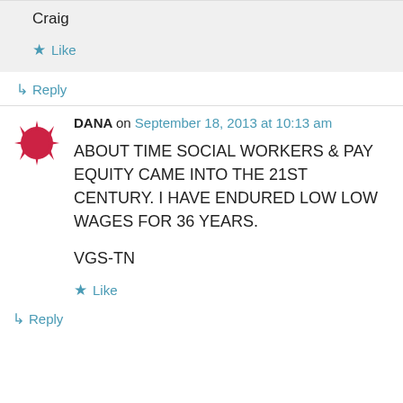Craig
Like
Reply
DANA on September 18, 2013 at 10:13 am
ABOUT TIME SOCIAL WORKERS & PAY EQUITY CAME INTO THE 21ST CENTURY. I HAVE ENDURED LOW LOW WAGES FOR 36 YEARS.
VGS-TN
Like
Reply